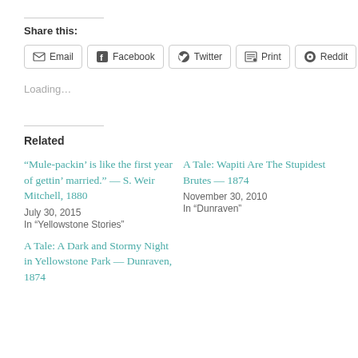Share this:
Email
Facebook
Twitter
Print
Reddit
Loading...
Related
“Mule-packin’ is like the first year of gettin’ married.” — S. Weir Mitchell, 1880
July 30, 2015
In "Yellowstone Stories"
A Tale: Wapiti Are The Stupidest Brutes — 1874
November 30, 2010
In "Dunraven"
A Tale: A Dark and Stormy Night in Yellowstone Park — Dunraven, 1874